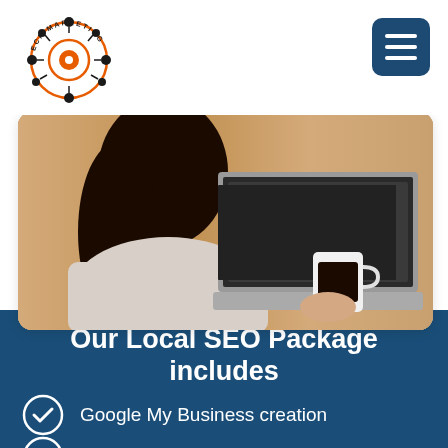[Figure (logo): ECF Marketing logo — orange circular target/crosshair icon with network nodes, text 'ECF MARKETING' around the ring]
[Figure (photo): Woman seen from behind, dark hair, holding a white coffee mug, working on a laptop on a wooden desk]
Our Local SEO Package includes
Google My Business creation
Bing optimization